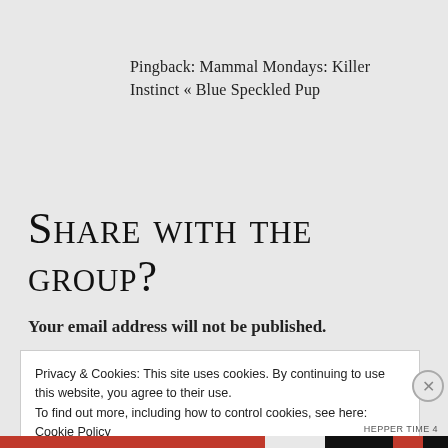Pingback: Mammal Mondays: Killer Instinct « Blue Speckled Pup
Share with the group?
Your email address will not be published.
Privacy & Cookies: This site uses cookies. By continuing to use this website, you agree to their use.
To find out more, including how to control cookies, see here: Cookie Policy
Close and accept